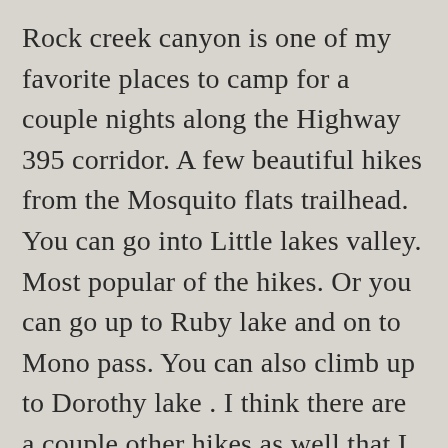Rock creek canyon is one of my favorite places to camp for a couple nights along the Highway 395 corridor. A few beautiful hikes from the Mosquito flats trailhead. You can go into Little lakes valley. Most popular of the hikes. Or you can go up to Ruby lake and on to Mono pass. You can also climb up to Dorothy lake . I think there are a couple other hikes as well that I have not yet done.  There are quite a few campgrounds on this 10 mile road.  I prefer the Lower pines campground.